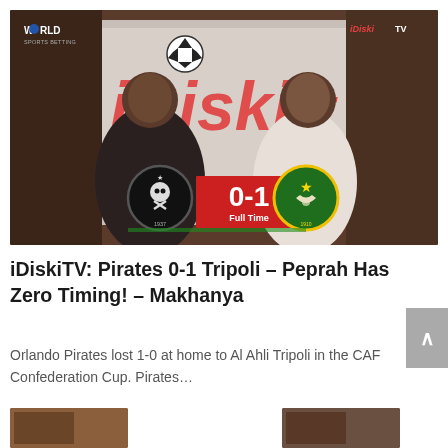[Figure (screenshot): iDiskiTV video thumbnail showing two men in conversation against an iDiski branded backdrop. Score overlay shows Orlando Pirates 0-1 Al Ahli Tripoli, Full Time.]
iDiskiTV: Pirates 0-1 Tripoli – Peprah Has Zero Timing! – Makhanya
Orlando Pirates lost 1-0 at home to Al Ahli Tripoli in the CAF Confederation Cup. Pirates…
[Figure (screenshot): Partial thumbnail visible at bottom-left of page]
[Figure (screenshot): Partial thumbnail visible at bottom-right of page]